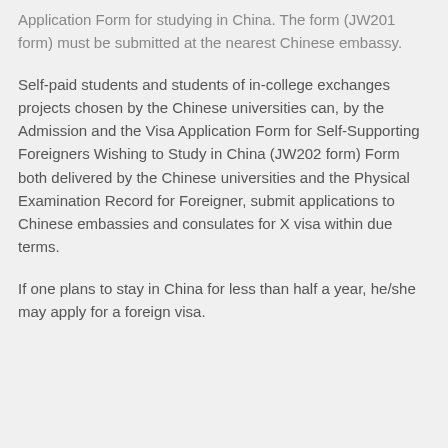Application Form for studying in China. The form (JW201 form) must be submitted at the nearest Chinese embassy.
Self-paid students and students of in-college exchanges projects chosen by the Chinese universities can, by the Admission and the Visa Application Form for Self-Supporting Foreigners Wishing to Study in China (JW202 form) Form both delivered by the Chinese universities and the Physical Examination Record for Foreigner, submit applications to Chinese embassies and consulates for X visa within due terms.
If one plans to stay in China for less than half a year, he/she may apply for a foreign visa.